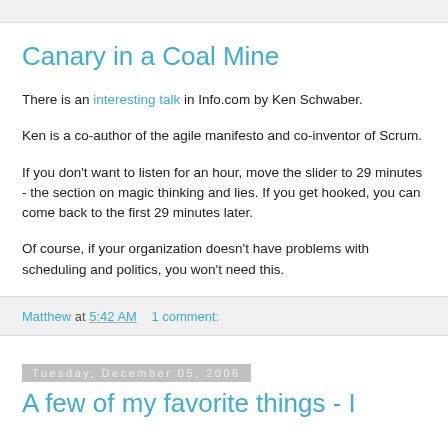Canary in a Coal Mine
There is an interesting talk in Info.com by Ken Schwaber.
Ken is a co-author of the agile manifesto and co-inventor of Scrum.
If you don't want to listen for an hour, move the slider to 29 minutes - the section on magic thinking and lies. If you get hooked, you can come back to the first 29 minutes later.
Of course, if your organization doesn't have problems with scheduling and politics, you won't need this.
Matthew at 5:42 AM    1 comment:
Tuesday, December 05, 2006
A few of my favorite things - I